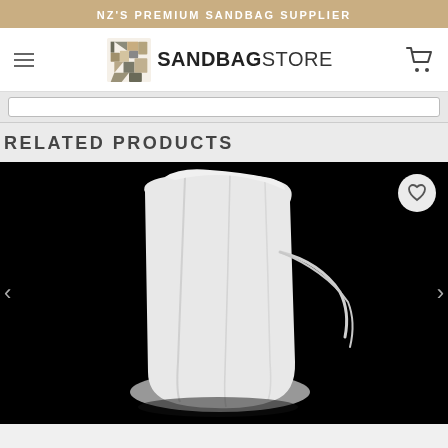NZ'S PREMIUM SANDBAG SUPPLIER
[Figure (logo): SandbagStore logo with mosaic-pattern icon and bold text 'SANDBAGSTORE']
RELATED PRODUCTS
[Figure (photo): A white polypropylene sandbag with tie strings photographed against a black background. The bag appears filled and the tie strings hang to the right side.]